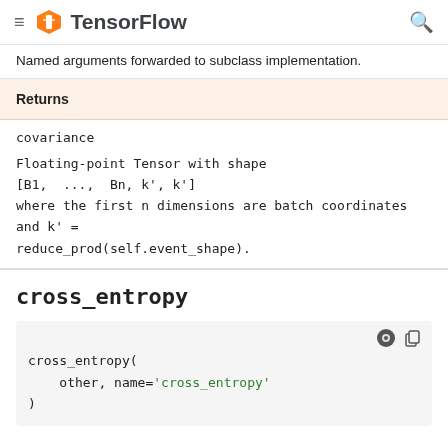TensorFlow
Named arguments forwarded to subclass implementation.
Returns
covariance
Floating-point Tensor with shape [B1, ..., Bn, k', k'] where the first n dimensions are batch coordinates and k' = reduce_prod(self.event_shape).
cross_entropy
cross_entropy(
    other, name='cross_entropy'
)